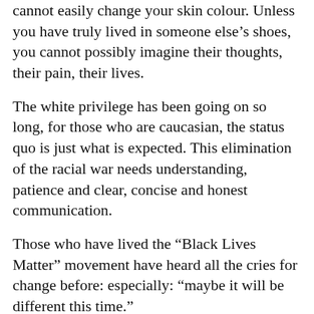cannot easily change your skin colour. Unless you have truly lived in someone else's shoes, you cannot possibly imagine their thoughts, their pain, their lives.
The white privilege has been going on so long, for those who are caucasian, the status quo is just what is expected. This elimination of the racial war needs understanding, patience and clear, concise and honest communication.
Those who have lived the “Black Lives Matter” movement have heard all the cries for change before: especially: “maybe it will be different this time.”
No one wins with all this violence. The images and video coming from south of the border is something so horrific that one would guess it is from a bad movie. Despite the brutality, strength, weapons and toughness shown in these battles, racism is really based on weakness of the mind.
Until such time as we as individuals can try to understand and overcome this oppressive behaviour, it will only get worse. Forget government intervention, it starts with the individual. If